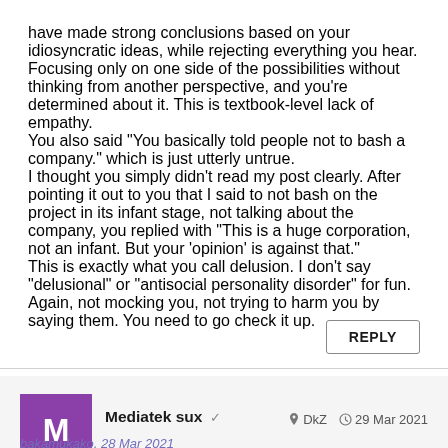have made strong conclusions based on your idiosyncratic ideas, while rejecting everything you hear. Focusing only on one side of the possibilities without thinking from another perspective, and you're determined about it. This is textbook-level lack of empathy.
You also said "You basically told people not to bash a company." which is just utterly untrue.
I thought you simply didn't read my post clearly. After pointing it out to you that I said to not bash on the project in its infant stage, not talking about the company, you replied with "This is a huge corporation, not an infant. But your 'opinion' is against that."
This is exactly what you call delusion. I don't say "delusional" or "antisocial personality disorder" for fun. Again, not mocking you, not trying to harm you by saying them. You need to go check it up.
REPLY
M
Mediatek sux ✓    📍 DkZ   🕐 29 Mar 2021
bakamukako, 28 Mar 2021